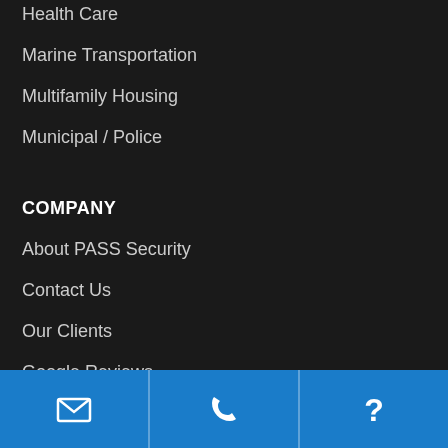Health Care
Marine Transportation
Multifamily Housing
Municipal / Police
COMPANY
About PASS Security
Contact Us
Our Clients
Google Reviews
Job Opportunities
Switch to PASS Security
Technology Partners
[Figure (other): Bottom navigation bar with email icon, phone icon, and question mark icon on blue background]